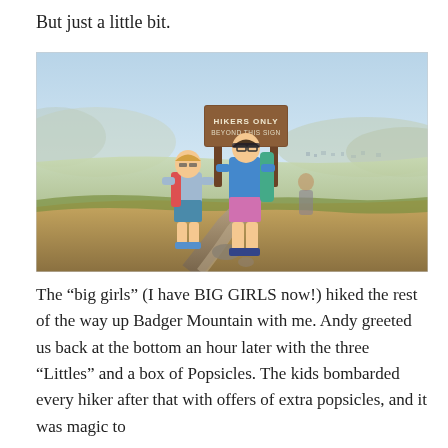But just a little bit.
[Figure (photo): Two young girls standing in front of a 'HIKERS ONLY BEYOND THIS SIGN' wooden sign at the top of Badger Mountain, with a panoramic valley view behind them. Both girls wear backpacks and casual outdoor clothing.]
The “big girls” (I have BIG GIRLS now!) hiked the rest of the way up Badger Mountain with me. Andy greeted us back at the bottom an hour later with the three “Littles” and a box of Popsicles. The kids bombarded every hiker after that with offers of extra popsicles, and it was magic to